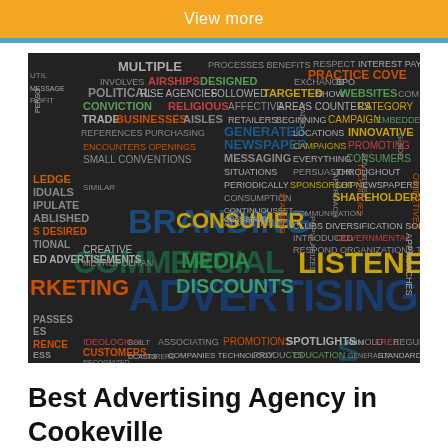View more
[Figure (infographic): Advertising word cloud image featuring words like ADVERTISING, BRANDING, COMMERCIAL, MEDIA, CONSUMER, LISTENERS, VIEWERS, DISCOUNTS, MARKETING, and many other advertising-related terms in various colors and sizes on a dark background.]
Best Advertising Agency in Cookeville